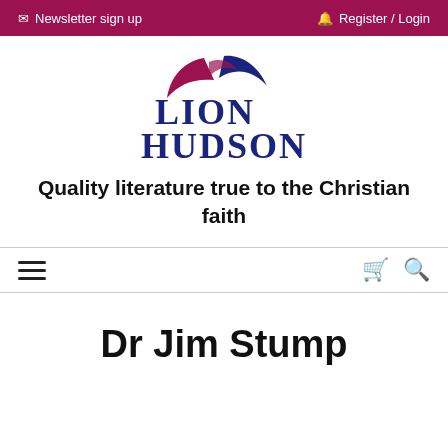Newsletter sign up   Register / Login
[Figure (logo): Lion Hudson logo: stylized feather/wings graphic in crimson and dark blue above the text LION HUDSON in dark blue serif font]
Quality literature true to the Christian faith
≡  🛒 🔍
Dr Jim Stump